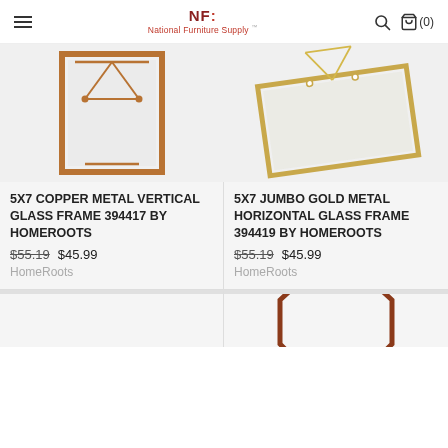NF National Furniture Supply (0)
[Figure (photo): 5x7 copper metal vertical glass picture frame with triangular wire stand, copper finish]
5X7 COPPER METAL VERTICAL GLASS FRAME 394417 BY HOMEROOTS
$55.19 $45.99
HomeRoots
[Figure (photo): 5x7 jumbo gold metal horizontal glass picture frame with wire stand, gold finish, lying flat]
5X7 JUMBO GOLD METAL HORIZONTAL GLASS FRAME 394419 BY HOMEROOTS
$55.19 $45.99
HomeRoots
[Figure (photo): Partial view of a product card (bottom, cut off)]
[Figure (photo): Partial view of an octagonal copper/bronze frame product card (bottom, cut off)]